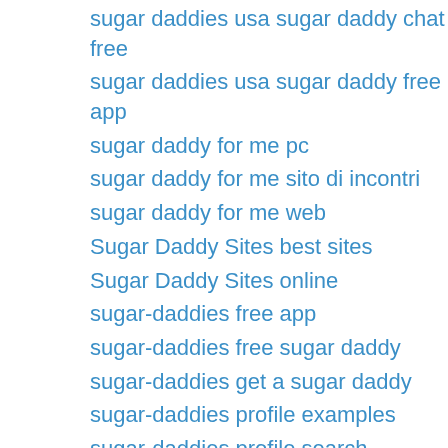sugar daddies usa sugar daddy chat free
sugar daddies usa sugar daddy free app
sugar daddy for me pc
sugar daddy for me sito di incontri
sugar daddy for me web
Sugar Daddy Sites best sites
Sugar Daddy Sites online
sugar-daddies free app
sugar-daddies free sugar daddy
sugar-daddies get a sugar daddy
sugar-daddies profile examples
sugar-daddies profile search
sugar-daddies seek arrangement
sugar-daddies sugar daddy com reviews
sugar-daddies sugar daddy dating app